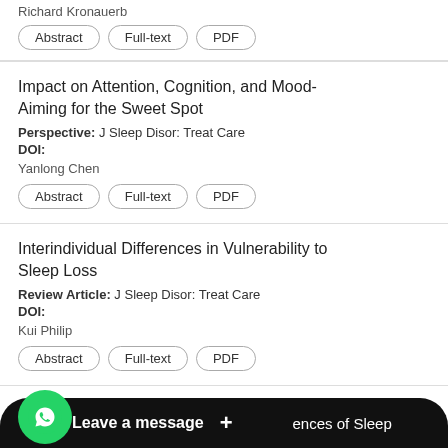Richard Kronauerb
Abstract | Full-text | PDF
Impact on Attention, Cognition, and Mood- Aiming for the Sweet Spot
Perspective: J Sleep Disor: Treat Care
DOI:
Yanlong Chen
Abstract | Full-text | PDF
Interindividual Differences in Vulnerability to Sleep Loss
Review Article: J Sleep Disor: Treat Care
DOI:
Kui Philip
Abstract | Full-text | PDF
…ences of Sleep Disr…als
[Figure (screenshot): WhatsApp chat widget overlay with green phone icon and 'Leave a message +' banner]